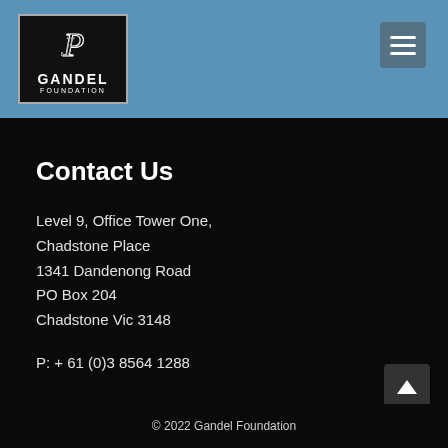[Figure (logo): Gandel Foundation logo — black square with stylized 'P' monogram and text GANDEL FOUNDATION in white]
Contact Us
Level 9, Office Tower One,
Chadstone Place
1341 Dandenong Road
PO Box 204
Chadstone Vic 3148
P: + 61 (0)3 8564 1288
© 2022 Gandel Foundation